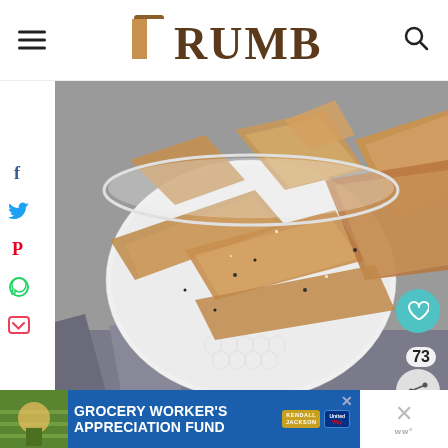CRUMB
[Figure (photo): A white ceramic bowl filled with pita chips or crackers, photographed close up on a striped cloth background]
[Figure (infographic): Advertisement banner: GROCERY WORKER'S APPRECIATION FUND with Kendall-Jackson and United Way logos]